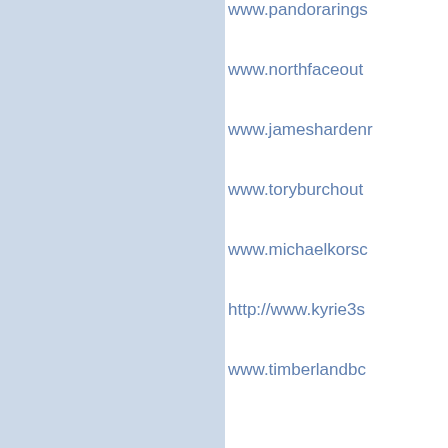www.pandorarings...
www.northfaceout...
www.jameshardenr...
www.toryburchout...
www.michaelkorso...
http://www.kyrie3s...
www.timberlandbo...
www.vansoutlet-st...
www.timberlandbo...
www.jimmychooou...
http://www.valentin...
www.yeezysbooost...
www.pandorarings...
http://www.pandor...
www.adidasnmdof...
www.ralphlaurenp...
http://www.nmdad...
http://www.kyrie...